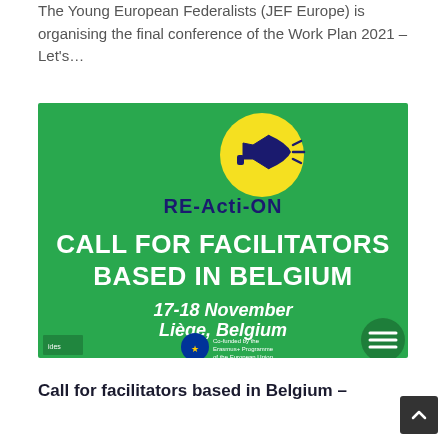The Young European Federalists (JEF Europe) is organising the final conference of the Work Plan 2021 – Let's…
[Figure (illustration): Green promotional banner for RE-Acti-ON project showing a yellow circle with a megaphone icon, text reading 'RE-Acti-ON', bold white text 'CALL FOR FACILITATORS BASED IN BELGIUM', '17-18 November Liège, Belgium', and logos including EU Erasmus+ programme co-funding badge.]
Call for facilitators based in Belgium –